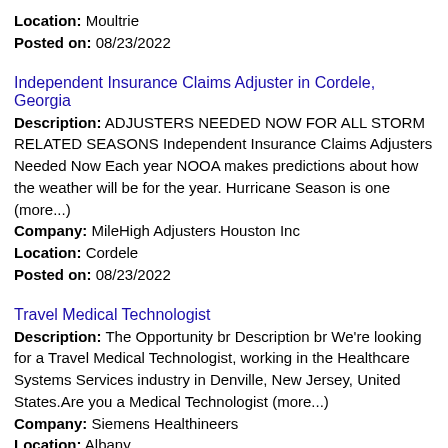Location: Moultrie
Posted on: 08/23/2022
Independent Insurance Claims Adjuster in Cordele, Georgia
Description: ADJUSTERS NEEDED NOW FOR ALL STORM RELATED SEASONS Independent Insurance Claims Adjusters Needed Now Each year NOOA makes predictions about how the weather will be for the year. Hurricane Season is one (more...)
Company: MileHigh Adjusters Houston Inc
Location: Cordele
Posted on: 08/23/2022
Travel Medical Technologist
Description: The Opportunity br Description br We're looking for a Travel Medical Technologist, working in the Healthcare Systems Services industry in Denville, New Jersey, United States.Are you a Medical Technologist (more...)
Company: Siemens Healthineers
Location: Albany
Posted on: 08/23/2022
Salary in Tallahassee, Florida Area | More details for Tallahassee, Florida Jobs |Salary